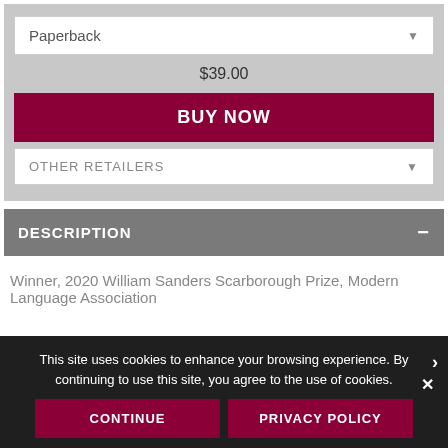Paperback
$39.00
BUY NOW
OTHER RETAILERS
DESCRIPTION
Winner, 2020 William Sanders Scarborough Prize, Modern Language Association
This site uses cookies to enhance your browsing experience. By continuing to use this site, you agree to the use of cookies.
CONTINUE
PRIVACY POLICY